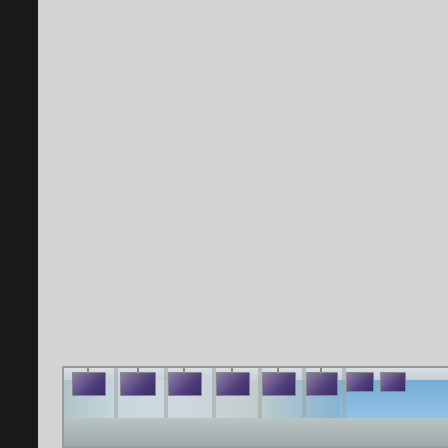[Figure (photo): Partial photograph visible at the bottom of the page showing an airport terminal interior with a row of screens/monitors hanging from the ceiling above what appears to be check-in counters or gates. The right portion of the image shows blue sky visible through windows. The rest of the page above the photo is a light gray background with a dark vertical bar on the left edge.]